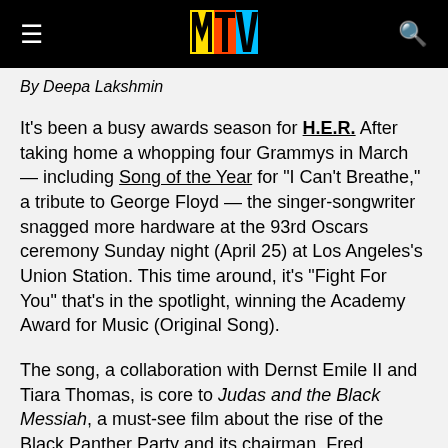MTV logo, menu icon, search icon
By Deepa Lakshmin
It’s been a busy awards season for H.E.R. After taking home a whopping four Grammys in March — including Song of the Year for “I Can’t Breathe,” a tribute to George Floyd — the singer-songwriter snagged more hardware at the 93rd Oscars ceremony Sunday night (April 25) at Los Angeles’s Union Station. This time around, it’s “Fight For You” that’s in the spotlight, winning the Academy Award for Music (Original Song).
The song, a collaboration with Dernst Emile II and Tiara Thomas, is core to Judas and the Black Messiah, a must-see film about the rise of the Black Panther Party and its chairman, Fred Hampton. “I did not expect to win this award,” H.E.R. said in her acceptance speech, dazzling